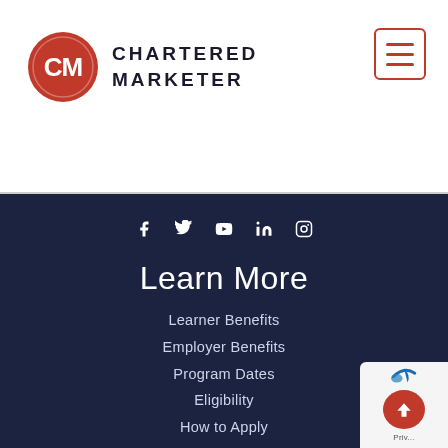[Figure (logo): Chartered Marketer logo: red circle with CM monogram on left, text CHARTERED MARKETER in dark uppercase letters on right]
[Figure (other): Hamburger menu icon: three horizontal red lines inside a red-bordered rectangle, top right corner]
[Figure (other): Social media icons row: f (Facebook), bird (Twitter), YouTube, in (LinkedIn), camera (Instagram) in white on dark navy background]
Learn More
Learner Benefits
Employer Benefits
Program Dates
Eligibility
How to Apply
About
CM Designation